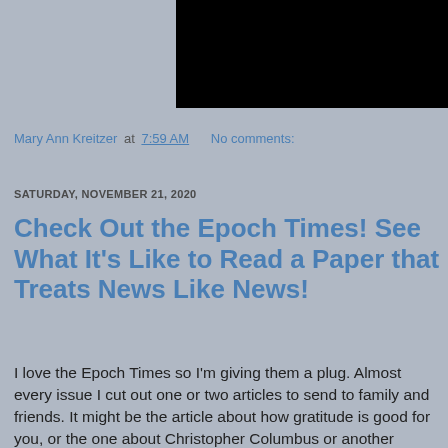[Figure (screenshot): Embedded video player with black background and YouTube play button in bottom-right corner]
Mary Ann Kreitzer at 7:59 AM   No comments:
SATURDAY, NOVEMBER 21, 2020
Check Out the Epoch Times! See What It's Like to Read a Paper that Treats News Like News!
I love the Epoch Times so I'm giving them a plug. Almost every issue I cut out one or two articles to send to family and friends. It might be the article about how gratitude is good for you, or the one about Christopher Columbus or another historical figure. Sometimes it's an expose like the one about how the